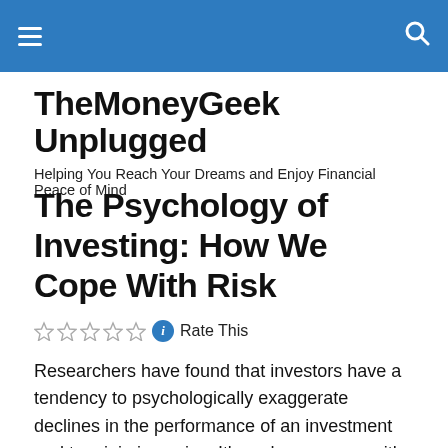TheMoneyGeek Unplugged
TheMoneyGeek Unplugged
Helping You Reach Your Dreams and Enjoy Financial Peace of Mind
The Psychology of Investing: How We Cope With Risk
Rate This
Researchers have found that investors have a tendency to psychologically exaggerate declines in the performance of an investment and to minimize gains. It’s a phenomenon with a complex sounding name — “myopic loss aversion” — but also one that makes a simple point: Psychology